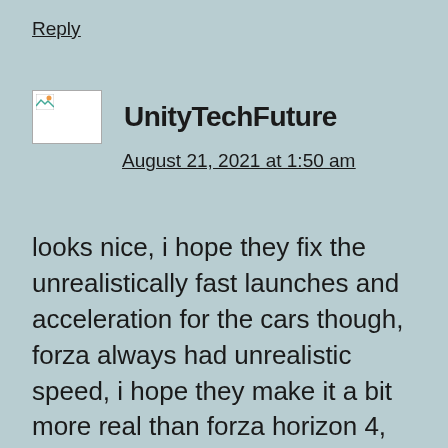Reply
UnityTechFuture
August 21, 2021 at 1:50 am
looks nice, i hope they fix the unrealistically fast launches and acceleration for the cars though, forza always had unrealistic speed, i hope they make it a bit more real than forza horizon 4, make the cars struggle to there top speed and not make it to were they reach it so easy. i also hope to find people who do more